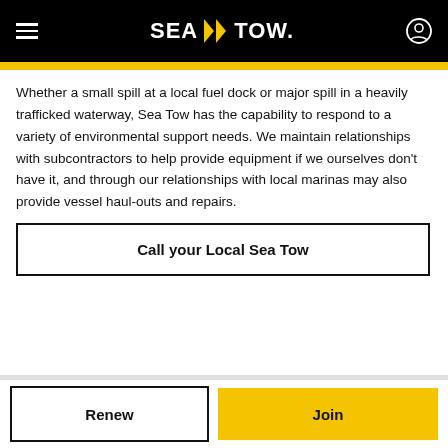SEA TOW
Whether a small spill at a local fuel dock or major spill in a heavily trafficked waterway, Sea Tow has the capability to respond to a variety of environmental support needs. We maintain relationships with subcontractors to help provide equipment if we ourselves don't have it, and through our relationships with local marinas may also provide vessel haul-outs and repairs.
Call your Local Sea Tow
Renew
Join